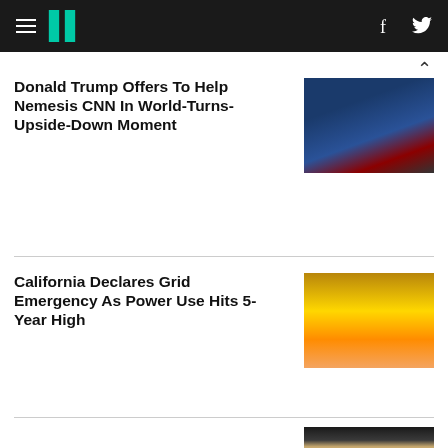HuffPost navigation header with hamburger menu, logo, Facebook and Twitter icons
Donald Trump Offers To Help Nemesis CNN In World-Turns-Upside-Down Moment
[Figure (photo): Donald Trump in blue suit with red tie at a rally, crowd in background]
California Declares Grid Emergency As Power Use Hits 5-Year High
[Figure (photo): Sun setting behind dramatic clouds, golden sky]
[Figure (photo): Partial photo of a person, partially cut off at bottom of page]